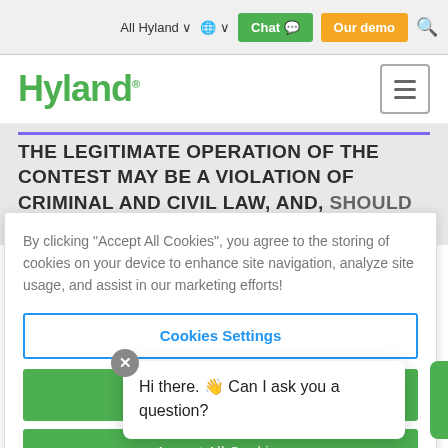All Hyland   Chat   Our demo
[Figure (logo): Hyland logo in green with hamburger menu icon]
THE LEGITIMATE OPERATION OF THE CONTEST MAY BE A VIOLATION OF CRIMINAL AND CIVIL LAW, AND, SHOULD SUCH AN ATTEMPT BE MADE, SPONSOR
By clicking "Accept All Cookies", you agree to the storing of cookies on your device to enhance site navigation, analyze site usage, and assist in our marketing efforts!
Cookies Settings
Hi there. 👋 Can I ask you a question?
Accept All Cookies